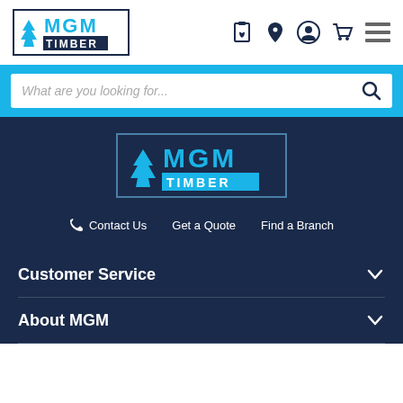[Figure (logo): MGM Timber logo in header - tree icon with MGM in blue and TIMBER in white on dark background]
[Figure (infographic): Navigation icons: clipboard/wishlist, location pin, user account, shopping cart, hamburger menu]
What are you looking for...
[Figure (logo): MGM Timber logo in footer - large version with tree icon, MGM in cyan and TIMBER block]
Contact Us   Get a Quote   Find a Branch
Customer Service
About MGM